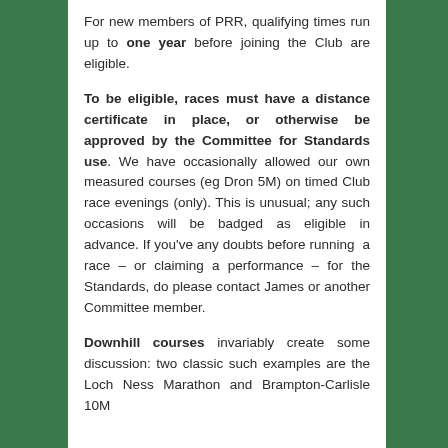For new members of PRR, qualifying times run up to one year before joining the Club are eligible.
To be eligible, races must have a distance certificate in place, or otherwise be approved by the Committee for Standards use. We have occasionally allowed our own measured courses (eg Dron 5M) on timed Club race evenings (only). This is unusual; any such occasions will be badged as eligible in advance. If you've any doubts before running a race – or claiming a performance – for the Standards, do please contact James or another Committee member.
Downhill courses invariably create some discussion: two classic such examples are the Loch Ness Marathon and Brampton-Carlisle 10M.